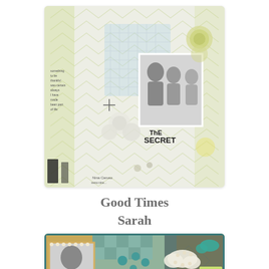[Figure (photo): Scrapbook layout with light chevron patterned background in cream and yellow-green, featuring a black-and-white family photo, decorative flowers, journaling text on the left side, and text reading 'The SECRET' near the photo.]
Good Times
Sarah
[Figure (photo): Partial view of another scrapbook layout with teal, yellow, and cream tones, featuring a black-and-white portrait photo, decorative cloud embellishments with pearls, a 'happy' tag, and checkered pattern elements.]